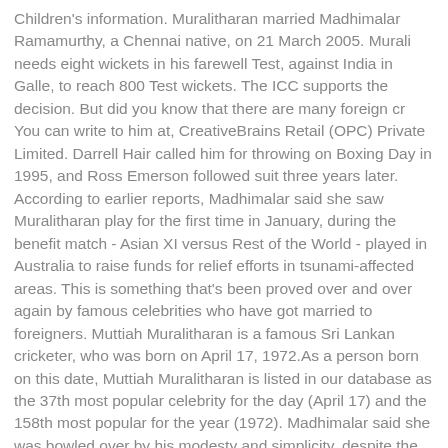Children's information. Muralitharan married Madhimalar Ramamurthy, a Chennai native, on 21 March 2005. Murali needs eight wickets in his farewell Test, against India in Galle, to reach 800 Test wickets. The ICC supports the decision. But did you know that there are many foreign cr You can write to him at, CreativeBrains Retail (OPC) Private Limited. Darrell Hair called him for throwing on Boxing Day in 1995, and Ross Emerson followed suit three years later. According to earlier reports, Madhimalar said she saw Muralitharan play for the first time in January, during the benefit match - Asian XI versus Rest of the World - played in Australia to raise funds for relief efforts in tsunami-affected areas. This is something that's been proved over and over again by famous celebrities who have got married to foreigners. Muttiah Muralitharan is a famous Sri Lankan cricketer, who was born on April 17, 1972.As a person born on this date, Muttiah Muralitharan is listed in our database as the 37th most popular celebrity for the day (April 17) and the 158th most popular for the year (1972). Madhimalar said she was bowled over by his modesty and simplicity, despite the fact that he was such a big celebrity. She is the daughter of late Dr S. Ramamurthy of Malar Hospitals and Dr Nithya Ramamurthy. Their match was arranged through common friends and they met for the first time last December. Often the only Tamil in the side in nations of their own. Sri Lankan women are grateful if...